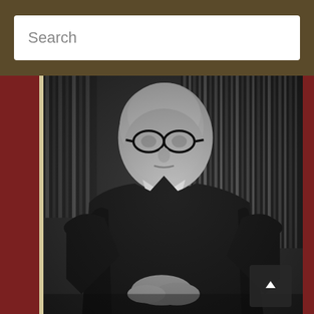Search
[Figure (photo): Black and white formal portrait photograph of a male judge wearing judicial robes and eyeglasses, seated in front of an American flag and law book shelves]